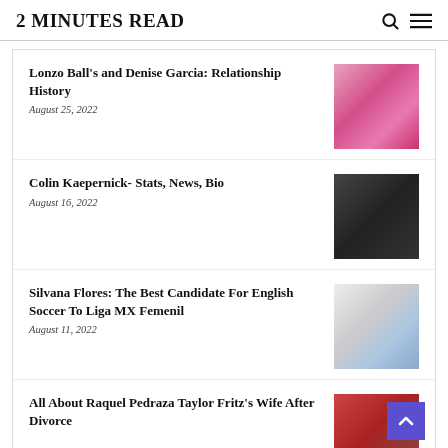2 MINUTES READ
Lonzo Ball's and Denise Garcia: Relationship History
August 25, 2022
[Figure (photo): Woman in pink sports bra and leggings]
Colin Kaepernick- Stats, News, Bio
August 16, 2022
[Figure (photo): Colin Kaepernick standing in athletic wear]
Silvana Flores: The Best Candidate For English Soccer To Liga MX Femenil
August 11, 2022
[Figure (photo): Soccer player in white jersey]
All About Raquel Pedraza Taylor Fritz's Wife After Divorce
[Figure (photo): Tennis-related photo, partially visible]